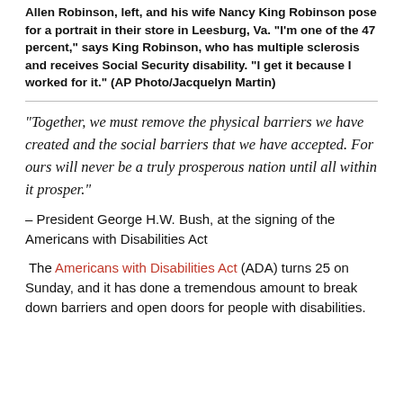Allen Robinson, left, and his wife Nancy King Robinson pose for a portrait in their store in Leesburg, Va. "I'm one of the 47 percent," says King Robinson, who has multiple sclerosis and receives Social Security disability. "I get it because I worked for it." (AP Photo/Jacquelyn Martin)
“Together, we must remove the physical barriers we have created and the social barriers that we have accepted. For ours will never be a truly prosperous nation until all within it prosper.”
– President George H.W. Bush, at the signing of the Americans with Disabilities Act
The Americans with Disabilities Act (ADA) turns 25 on Sunday, and it has done a tremendous amount to break down barriers and open doors for people with disabilities.